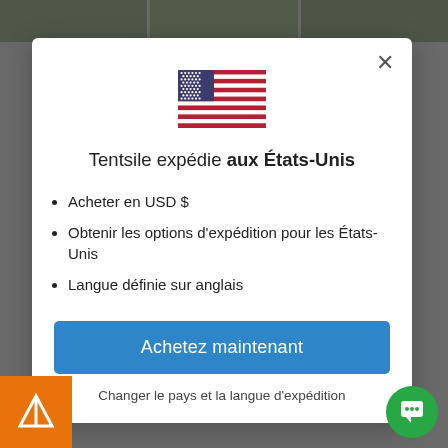[Figure (screenshot): Modal dialog on a website showing Tentsile shipping information for the United States, with a US flag, bullet points, a blue buy button, and options to change country.]
Tentsile expédie aux États-Unis
Acheter en USD $
Obtenir les options d'expédition pour les États-Unis
Langue définie sur anglais
Achetez maintenant
Changer le pays et la langue d'expédition